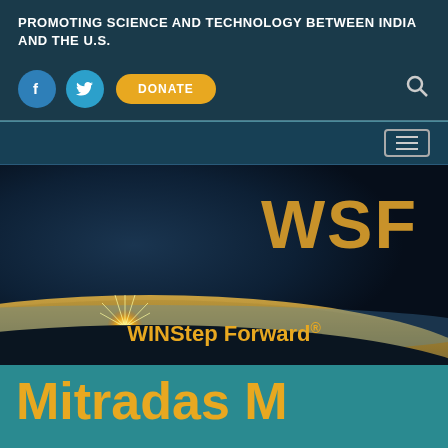PROMOTING SCIENCE AND TECHNOLOGY BETWEEN INDIA AND THE U.S.
[Figure (screenshot): Facebook icon button (circular blue), Twitter icon button (circular teal), DONATE button (gold/yellow rounded), and search icon on dark teal navigation bar]
[Figure (screenshot): Hamburger menu button (three horizontal lines) on dark teal navigation bar]
[Figure (logo): WINStep Forward logo with 'WSF' in large gold letters and 'WINStep Forward®' text over a space/planet sunrise image on dark background]
Mitradas M